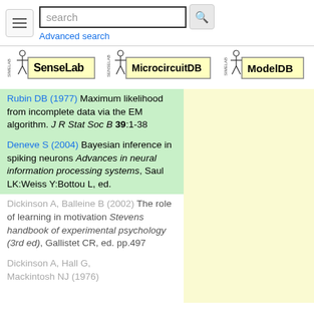search | Advanced search
[Figure (logo): SenseLab logo]
[Figure (logo): MicrocircuitDB logo]
[Figure (logo): ModelDB logo]
Rubin DB (1977) Maximum likelihood from incomplete data via the EM algorithm. J R Stat Soc B 39:1-38
Deneve S (2004) Bayesian inference in spiking neurons Advances in neural information processing systems, Saul LK:Weiss Y:Bottou L, ed.
Dickinson A, Balleine B (2002) The role of learning in motivation Stevens handbook of experimental psychology (3rd ed), Gallistet CR, ed. pp.497
Dickinson A, Hall G, Mackintosh NJ (1976)